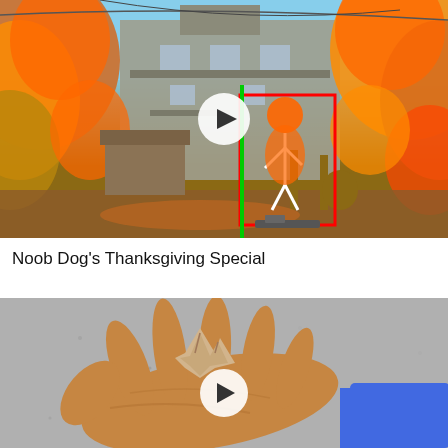[Figure (screenshot): Video thumbnail showing a video game scene with autumn foliage, a building, and a glowing orange character with a white skeleton outline inside a red bounding box, with a green vertical line. A white circular play button is overlaid in the center.]
Noob Dog's Thanksgiving Special
[Figure (photo): Video thumbnail showing a hand holding a small wooden carving or figurine on a grey surface, with a white circular play button overlaid in the center.]